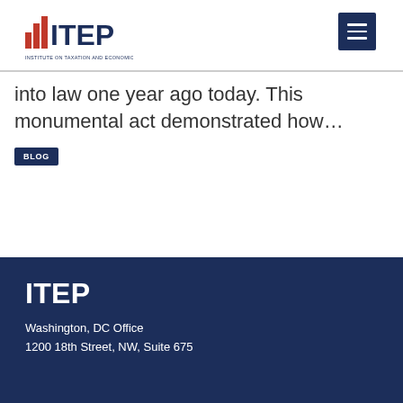ITEP - Institute on Taxation and Economic Policy
into law one year ago today. This monumental act demonstrated how…
BLOG
ITEP
Washington, DC Office
1200 18th Street, NW, Suite 675